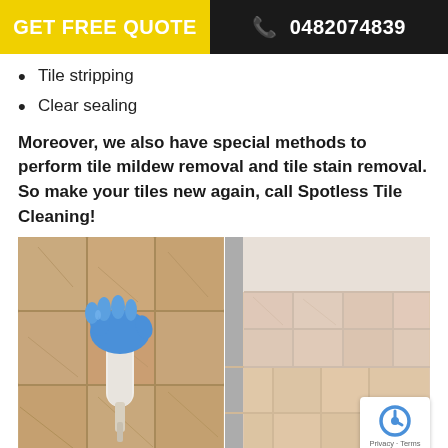GET FREE QUOTE  📞 0482074839
Tile stripping
Clear sealing
Moreover, we also have special methods to perform tile mildew removal and tile stain removal. So make your tiles new again, call Spotless Tile Cleaning!
[Figure (photo): Before and after tile and grout cleaning — left side shows a gloved hand applying grout cleaner on dirty beige floor tiles; right side shows clean, light-coloured tiles on floor and wall.]
Tile and Grout Cleaning Yokine South (Before – After)